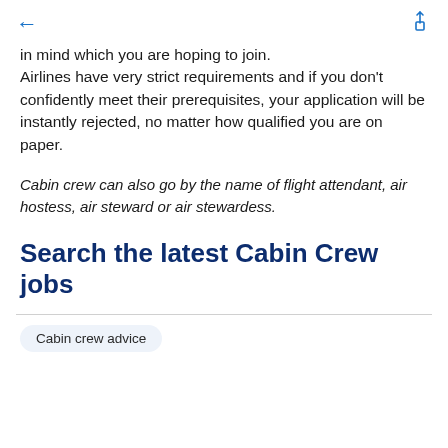← [back] [share icon]
in mind which you are hoping to join. Airlines have very strict requirements and if you don't confidently meet their prerequisites, your application will be instantly rejected, no matter how qualified you are on paper.
Cabin crew can also go by the name of flight attendant, air hostess, air steward or air stewardess.
Search the latest Cabin Crew jobs
Cabin crew advice